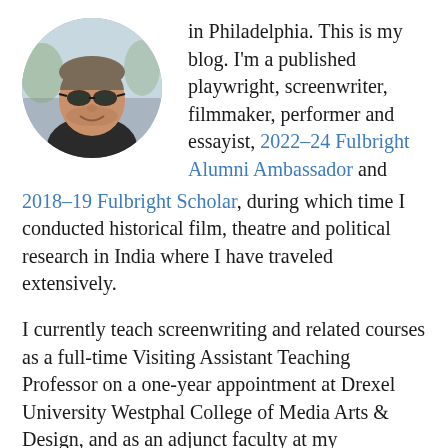[Figure (photo): Circular portrait photo of a middle-aged man with short gray-brown hair, wearing sunglasses and a dark shirt, smiling. Outdoor background.]
in Philadelphia. This is my blog. I'm a published playwright, screenwriter, filmmaker, performer and essayist, 2022-24 Fulbright Alumni Ambassador and 2018-19 Fulbright Scholar, during which time I conducted historical film, theatre and political research in India where I have traveled extensively.
I currently teach screenwriting and related courses as a full-time Visiting Assistant Teaching Professor on a one-year appointment at Drexel University Westphal College of Media Arts & Design, and as an adjunct faculty at my